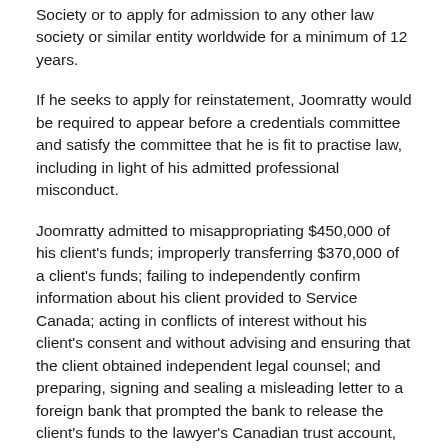Society or to apply for admission to any other law society or similar entity worldwide for a minimum of 12 years.
If he seeks to apply for reinstatement, Joomratty would be required to appear before a credentials committee and satisfy the committee that he is fit to practise law, including in light of his admitted professional misconduct.
Joomratty admitted to misappropriating $450,000 of his client's funds; improperly transferring $370,000 of a client's funds; failing to independently confirm information about his client provided to Service Canada; acting in conflicts of interest without his client's consent and without advising and ensuring that the client obtained independent legal counsel; and preparing, signing and sealing a misleading letter to a foreign bank that prompted the bank to release the client's funds to the lawyer's Canadian trust account, among other situations of misconduct.
In accepting the consent agreement, the Chair of the Law Society's Discipline Committee considered that the undertaking not to practise law for 12 years falls within the range of sanctions for similar cases, the